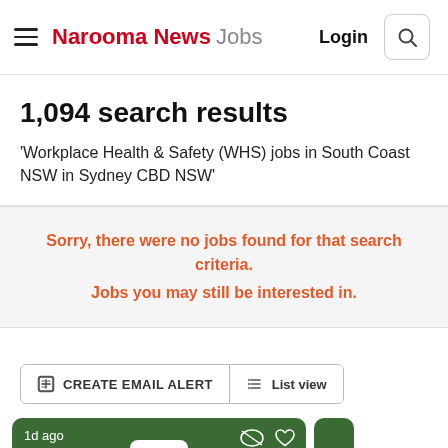Narooma News Jobs  Login
1,094 search results
'Workplace Health & Safety (WHS) jobs in South Coast NSW in Sydney CBD NSW'
Sorry, there were no jobs found for that search criteria. Jobs you may still be interested in.
CREATE EMAIL ALERT  List view
1d ago